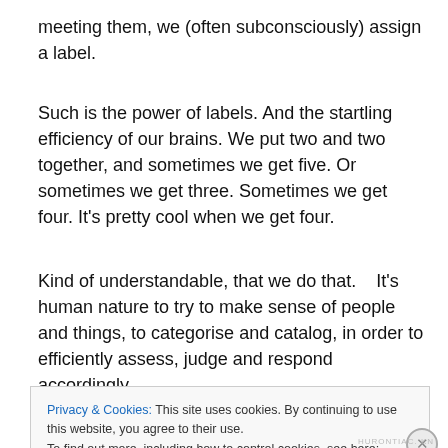meeting them, we (often subconsciously) assign a label.
Such is the power of labels. And the startling efficiency of our brains. We put two and two together, and sometimes we get five. Or sometimes we get three. Sometimes we get four. It’s pretty cool when we get four.
Kind of understandable, that we do that.   It’s human nature to try to make sense of people and things, to categorise and catalog, in order to efficiently assess, judge and respond accordingly.
Privacy & Cookies: This site uses cookies. By continuing to use this website, you agree to their use.
To find out more, including how to control cookies, see here: Cookie Policy
Close and accept